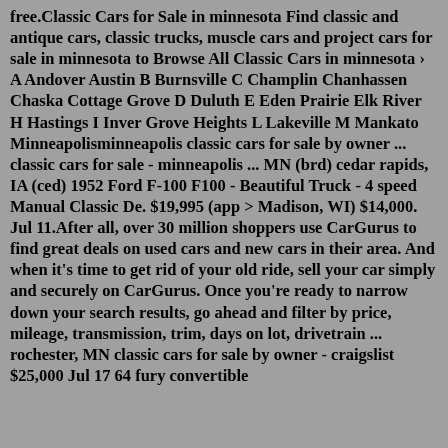free.Classic Cars for Sale in minnesota Find classic and antique cars, classic trucks, muscle cars and project cars for sale in minnesota to Browse All Classic Cars in minnesota › A Andover Austin B Burnsville C Champlin Chanhassen Chaska Cottage Grove D Duluth E Eden Prairie Elk River H Hastings I Inver Grove Heights L Lakeville M Mankato Minneapolisminneapolis classic cars for sale by owner ... classic cars for sale - minneapolis ... MN (brd) cedar rapids, IA (ced) 1952 Ford F-100 F100 - Beautiful Truck - 4 speed Manual Classic De. $19,995 (app > Madison, WI) $14,000. Jul 11.After all, over 30 million shoppers use CarGurus to find great deals on used cars and new cars in their area. And when it's time to get rid of your old ride, sell your car simply and securely on CarGurus. Once you're ready to narrow down your search results, go ahead and filter by price, mileage, transmission, trim, days on lot, drivetrain ... rochester, MN classic cars for sale by owner - craigslist $25,000 Jul 17 64 fury convertible